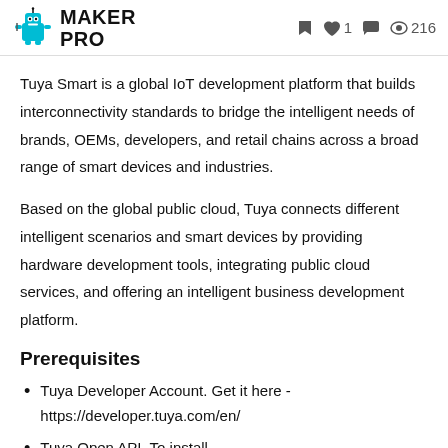MAKER PRO | 1 | 216
Tuya Smart is a global IoT development platform that builds interconnectivity standards to bridge the intelligent needs of brands, OEMs, developers, and retail chains across a broad range of smart devices and industries.
Based on the global public cloud, Tuya connects different intelligent scenarios and smart devices by providing hardware development tools, integrating public cloud services, and offering an intelligent business development platform.
Prerequisites
Tuya Developer Account. Get it here - https://developer.tuya.com/en/
Tuya Open API. To install...